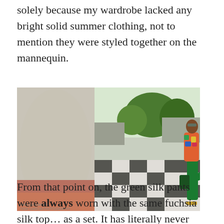solely because my wardrobe lacked any bright solid summer clothing, not to mention they were styled together on the mannequin.
[Figure (photo): A woman wearing a colorful patterned top and bright green pants leans against a large stone or concrete column, posing with one leg raised. She wears sunglasses and gold accessories. In the background is an outdoor plaza with a black-and-white checkered pavement pattern, trees, and urban buildings.]
From that point on, the green silk pants were always worn with the same fuchsia silk top… as a set. It has literally never occurred to me to wear the pieces as separates. That is until I stumbled upon